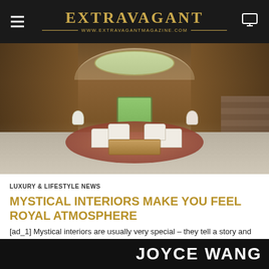EXTRAVAGANT — www.extravagantmagazine.com
[Figure (photo): Luxury hotel lobby interior with circular seating arrangement of white armchairs around a glass coffee table on a round rug, ornate wood-paneled walls with murals, oval window above, central glass door with garden view, grand staircase to the right.]
LUXURY & LIFESTYLE NEWS
MYSTICAL INTERIORS MAKE YOU FEEL ROYAL ATMOSPHERE
[ad_1] Mystical interiors are usually very special – they tell a story and make us feel a bit of wonder and history. We have picked out some London places where you can...
JOYCE WANG